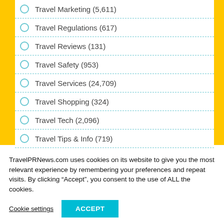Travel Marketing (5,611)
Travel Regulations (617)
Travel Reviews (131)
Travel Safety (953)
Travel Services (24,709)
Travel Shopping (324)
Travel Tech (2,096)
Travel Tips & Info (719)
Travelers (24,124)
TravelPRNews.com uses cookies on its website to give you the most relevant experience by remembering your preferences and repeat visits. By clicking “Accept”, you consent to the use of ALL the cookies.
Cookie settings   ACCEPT